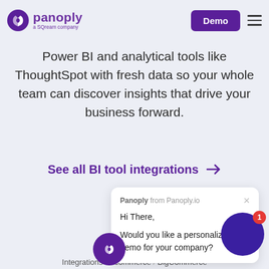Panoply — a SQream company | Demo
Power BI and analytical tools like ThoughtSpot with fresh data so your whole team can discover insights that drive your business forward.
See all BI tool integrations →
[Figure (screenshot): Chat popup widget from Panoply.io saying 'Hi There, Would you like a personalized demo for your company?']
[Figure (illustration): Purple circle chat icon with Panoply logo]
[Figure (illustration): Purple circle notification button with badge showing '1']
Integrations / Ecommerce / BigCommerce